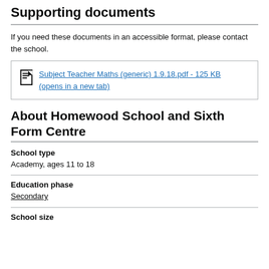Supporting documents
If you need these documents in an accessible format, please contact the school.
Subject Teacher Maths (generic) 1.9.18.pdf - 125 KB (opens in a new tab)
About Homewood School and Sixth Form Centre
School type
Academy, ages 11 to 18
Education phase
Secondary
School size